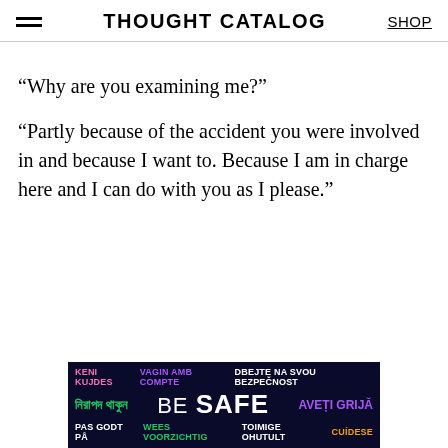THOUGHT CATALOG  SHOP
“Why are you examining me?”
“Partly because of the accident you were involved in and because I want to. Because I am in charge here and I can do with you as I please.”
[Figure (other): Advertisement banner with multilingual 'BE SAFE' text on dark blue background. Languages include Albanian (KENI KUJDES), Catalan (VAGIN AMB COMPTE), Czech (DBEJTE NA SVOU BEZPECNOST), Bengali script, English (BE SAFE), Romanian (AVETI GRIJA), Dutch (PAS GODT PA, WEES VOORZICHTIG), Estonian (TOIMIGE OHUTULT), and Spanish (CUIDESE).]